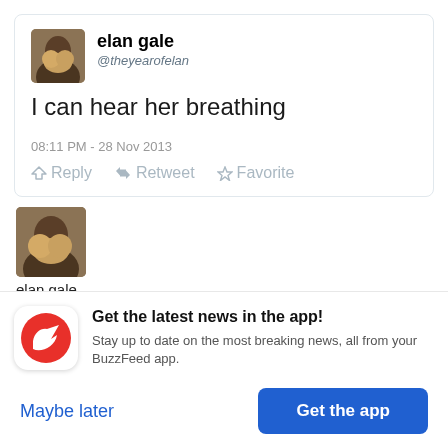[Figure (screenshot): Twitter tweet card showing elan gale @theyearofelan with profile photo. Tweet text: I can hear her breathing. Time: 08:11 PM - 28 Nov 2013. Actions: Reply, Retweet, Favorite.]
[Figure (photo): Second instance of elan gale profile photo, larger, below the tweet card.]
elan gale
@theyearofelan
[Figure (infographic): BuzzFeed app promotion banner with red circular icon with white arrow, headline: Get the latest news in the app!, subtitle: Stay up to date on the most breaking news, all from your BuzzFeed app. Buttons: Maybe later, Get the app.]